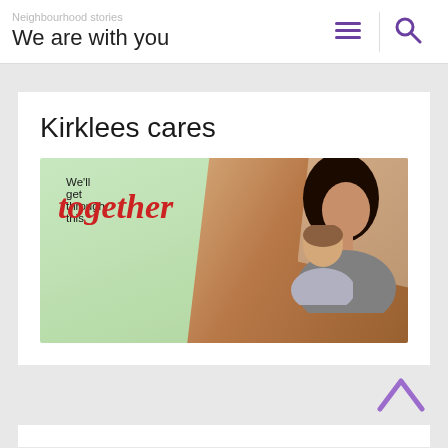Neighbourhood stories
We are with you
Kirklees cares
[Figure (photo): Kirklees Cares COVID-19 promotional image showing a mother and child at a laptop doing a video call, with text 'We'll get through this together', a COVID-19 badge, and Kirklees Cares branding on a red banner.]